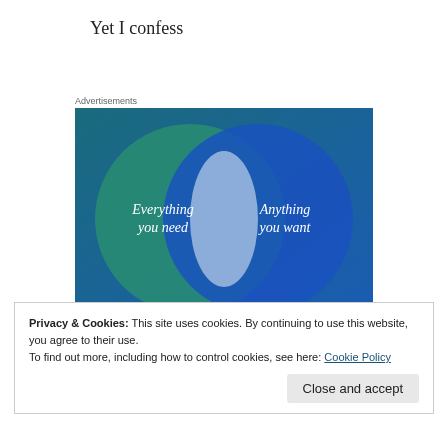Yet I confess
Advertisements
[Figure (infographic): Venn diagram with two overlapping circles on a blue/teal gradient background. Left circle (teal/green) labeled 'Everything you need', right circle (blue) labeled 'Anything you want'. Overlapping area is a lighter blue-white.]
Privacy & Cookies: This site uses cookies. By continuing to use this website, you agree to their use.
To find out more, including how to control cookies, see here: Cookie Policy
Close and accept